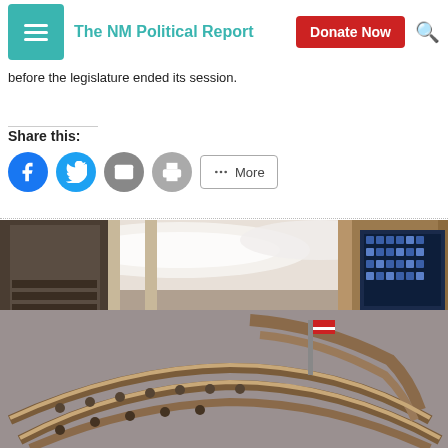The NM Political Report
before the legislature ended its session.
Share this:
[Figure (infographic): Social share buttons: Facebook, Twitter, Email, Print, and More]
[Figure (photo): Wide-angle overhead view of the New Mexico state legislature chamber in session, with legislators seated at curved wooden desks in a circular chamber with wooden paneling and overhead lighting.]